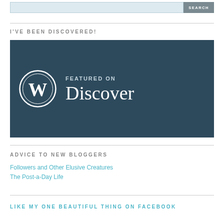[Figure (screenshot): Search bar with light blue input field and grey SEARCH button]
I'VE BEEN DISCOVERED!
[Figure (logo): WordPress Featured on Discover badge - dark teal background with WordPress W logo and text FEATURED ON Discover]
ADVICE TO NEW BLOGGERS
Followers and Other Elusive Creatures
The Post-a-Day Life
LIKE MY ONE BEAUTIFUL THING ON FACEBOOK